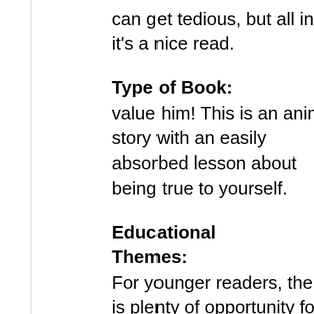can get tedious, but all in all, it's a nice read.
Type of Book:
value him! This is an animal story with an easily absorbed lesson about being true to yourself.
Educational Themes:
For younger readers, there is plenty of opportunity for